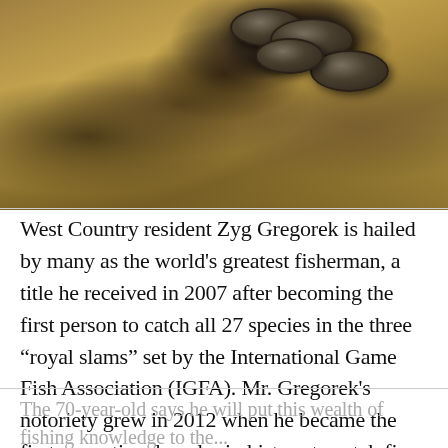[Figure (photo): A sepia-toned photograph showing what appear to be old cylindrical metal objects (fishing reels or similar) partially buried in sandy/rocky soil.]
West Country resident Zyg Gregorek is hailed by many as the world's greatest fisherman, a title he received in 2007 after becoming the first person to catch all 27 species in the three “royal slams” set by the International Game Fish Association (IGFA). Mr. Gregorek's notoriety grew in 2012 when he became the first recreational angler in history to catch five different species over 1,000 pounds.
The 70-year-old says he will put this wealth of fishing knowledge to the...